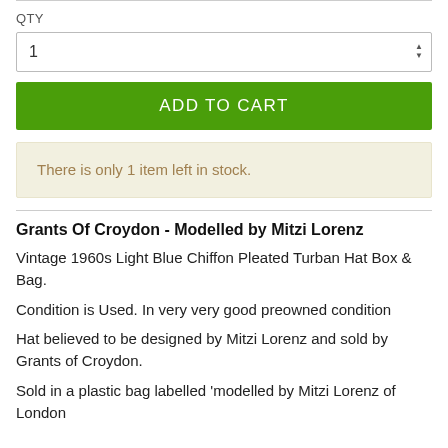QTY
1
ADD TO CART
There is only 1 item left in stock.
Grants Of Croydon - Modelled by Mitzi Lorenz
Vintage 1960s Light Blue Chiffon Pleated Turban Hat Box & Bag.
Condition is Used. In very very good preowned condition
Hat believed to be designed by Mitzi Lorenz and sold by Grants of Croydon.
Sold in a plastic bag labelled 'modelled by Mitzi Lorenz of London...